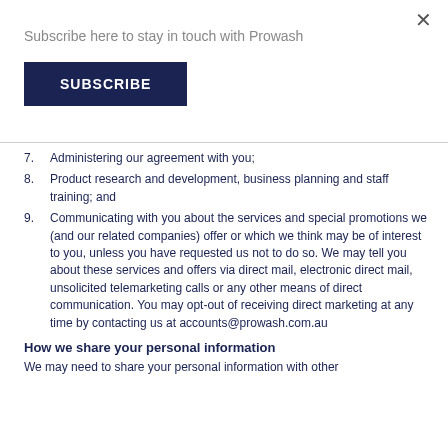Subscribe here to stay in touch with Prowash
SUBSCRIBE
7. Administering our agreement with you;
8. Product research and development, business planning and staff training; and
9. Communicating with you about the services and special promotions we (and our related companies) offer or which we think may be of interest to you, unless you have requested us not to do so. We may tell you about these services and offers via direct mail, electronic direct mail, unsolicited telemarketing calls or any other means of direct communication. You may opt-out of receiving direct marketing at any time by contacting us at accounts@prowash.com.au
How we share your personal information
We may need to share your personal information with other